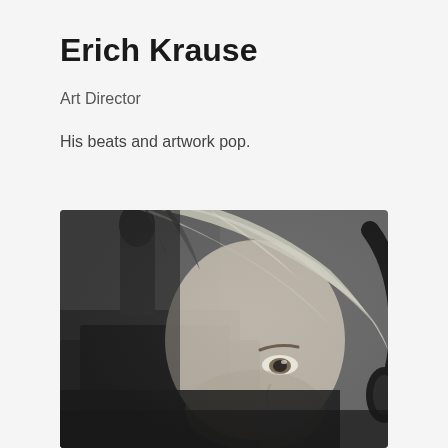Erich Krause
Art Director
His beats and artwork pop.
[Figure (photo): Black and white close-up photograph of a person with blonde hair wearing headphones, looking up slightly, with a microphone or monitor in the foreground]